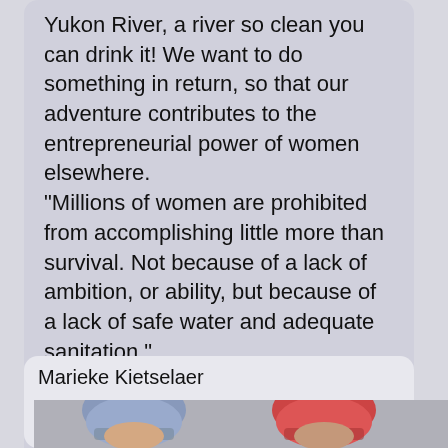Yukon River, a river so clean you can drink it! We want to do something in return, so that our adventure contributes to the entrepreneurial power of women elsewhere. “Millions of women are prohibited from accomplishing little more than survival. Not because of a lack of ambition, or ability, but because of a lack of safe water and adequate sanitation.” This is why Teams NIGOR Guam & NIGOR Parula (together we are 4WOMEN4WATER) want to donate the equivalent of the race registration fee to Water.org’s women’s empowerment projects.
Marieke Kietselaer
[Figure (photo): Two people wearing helmets - one with a blue/grey helmet on the left and one with a red helmet on the right, partial view]